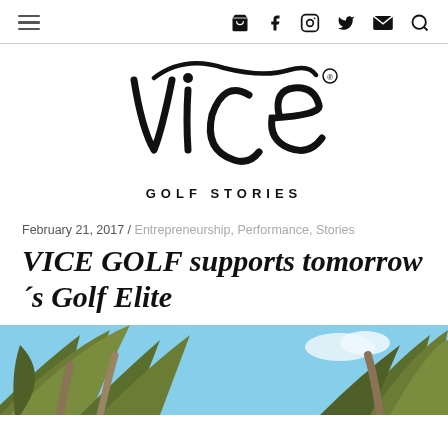≡  🛒 f 📷 🐦 ✉ 🔍
[Figure (logo): VICE Golf Stories logo — script lettering 'vice' with registered trademark symbol, below it 'GOLF STORIES' in spaced capitals]
February 21, 2017 / Entrepreneurship, Performance, Stories
VICE GOLF supports tomorrow´s Golf Elite
[Figure (photo): Outdoor photo showing palm tree fronds against a blue sky with clouds]